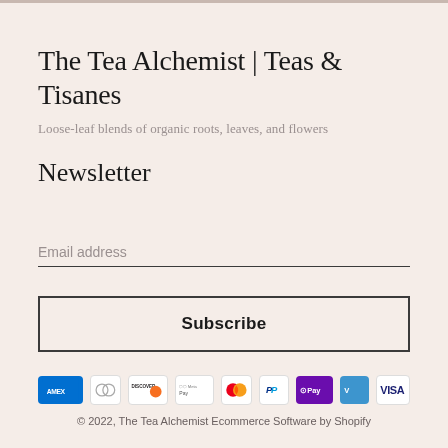The Tea Alchemist | Teas & Tisanes
Loose-leaf blends of organic roots, leaves, and flowers
Newsletter
Email address
Subscribe
[Figure (other): Payment method icons: American Express, Diners Club, Discover, Meta Pay, Mastercard, PayPal, G Pay, Venmo, Visa]
© 2022, The Tea Alchemist Ecommerce Software by Shopify